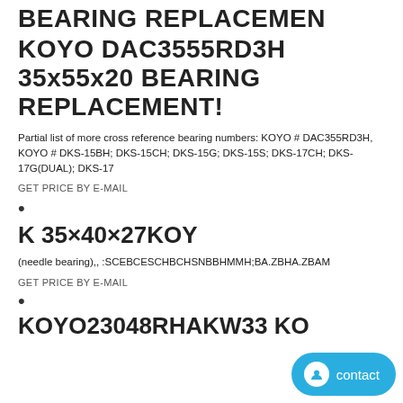BEARING REPLACEMENT
KOYO DAC3555RD3H 35x55x20 BEARING REPLACEMENT!
Partial list of more cross reference bearing numbers: KOYO # DAC355RD3H, KOYO # DKS-15BH; DKS-15CH; DKS-15G; DKS-15S; DKS-17CH; DKS-17G(DUAL); DKS-17
GET PRICE BY E-MAIL
•
K 35×40×27KOY
(needle bearing),,⁠ :SCE⁠BCE⁠SCH⁠BCH⁠SN⁠B⁠BH⁠M⁠MH⁠;BA.Z⁠BHA.Z⁠BAM⁠
GET PRICE BY E-MAIL
•
KOYO23048RHAKW33 KOYO